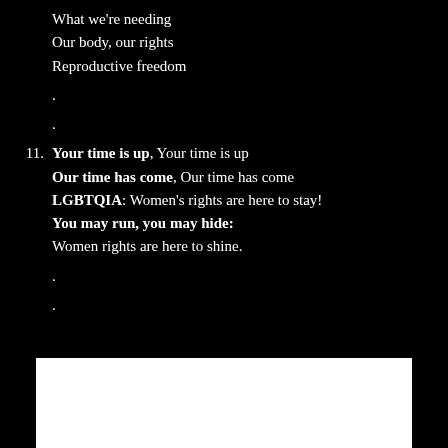What we're needing
Our body, our rights
Reproductive freedom
.
.
11. Your time is up, Your time is up
Our time has come, Our time has come
LGBTQIA: Women's rights are here to stay!
You may run, you may hide:
Women rights are here to shine.
.
.
[Figure (other): White rectangle at the bottom of the page]